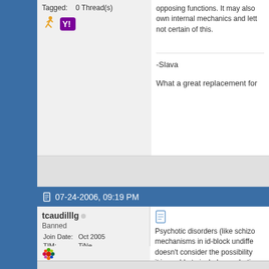Tagged: 0 Thread(s)
-Slava
What a great replacement for
opposing functions. It may also own internal mechanics and lett not certain of this.
07-24-2006, 09:19 PM
tcaudilllg
Banned
Join Date: Oct 2005
TIM: TiNe
Posts: 7,858
Mentioned: 11 Post(s)
Tagged: 0 Thread(s)
Psychotic disorders (like schizo mechanisms in id-block undiffe doesn't consider the possibility it is unable to include psychotic phenomena.